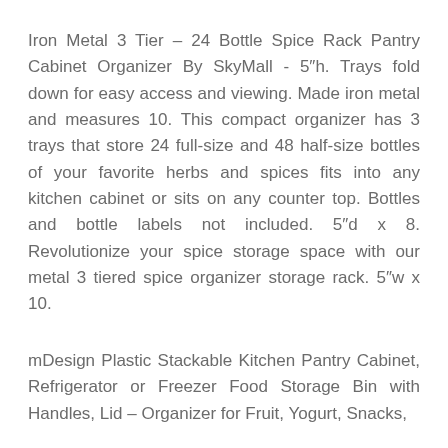Iron Metal 3 Tier – 24 Bottle Spice Rack Pantry Cabinet Organizer By SkyMall - 5"h. Trays fold down for easy access and viewing. Made iron metal and measures 10. This compact organizer has 3 trays that store 24 full-size and 48 half-size bottles of your favorite herbs and spices fits into any kitchen cabinet or sits on any counter top. Bottles and bottle labels not included. 5"d x 8. Revolutionize your spice storage space with our metal 3 tiered spice organizer storage rack. 5"w x 10.
mDesign Plastic Stackable Kitchen Pantry Cabinet, Refrigerator or Freezer Food Storage Bin with Handles, Lid – Organizer for Fruit, Yogurt, Snacks,